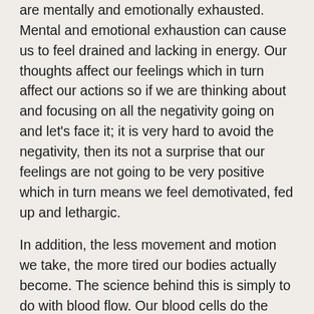are mentally and emotionally exhausted. Mental and emotional exhaustion can cause us to feel drained and lacking in energy. Our thoughts affect our feelings which in turn affect our actions so if we are thinking about and focusing on all the negativity going on and let's face it; it is very hard to avoid the negativity, then its not a surprise that our feelings are not going to be very positive which in turn means we feel demotivated, fed up and lethargic.
In addition, the less movement and motion we take, the more tired our bodies actually become. The science behind this is simply to do with blood flow. Our blood cells do the very important job of moving oxygen and other nutrients around all of the cells and tissues in our bodies. The less active we are, the more sluggish our blood circulation will be and inherently, it follows that we will not be getting delivery of oxygen and nutrients as fluidly as when we are more active. This is